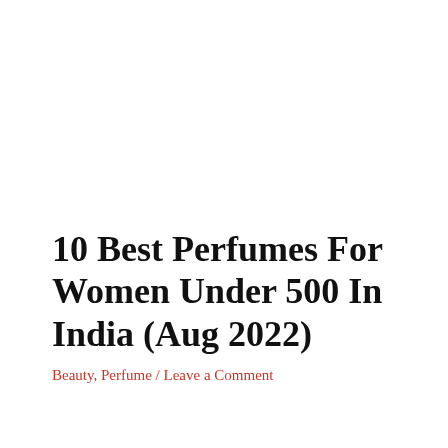10 Best Perfumes For Women Under 500 In India (Aug 2022)
Beauty, Perfume / Leave a Comment